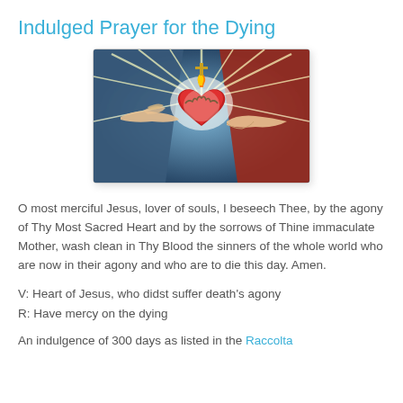Indulged Prayer for the Dying
[Figure (illustration): Religious illustration of hands holding the Sacred Heart of Jesus with a cross on top, surrounded by rays of light. One hand extended from the left (blue robed figure) and one holding the heart from the right (red robed figure).]
O most merciful Jesus, lover of souls, I beseech Thee, by the agony of Thy Most Sacred Heart and by the sorrows of Thine immaculate Mother, wash clean in Thy Blood the sinners of the whole world who are now in their agony and who are to die this day. Amen.
V: Heart of Jesus, who didst suffer death's agony
R: Have mercy on the dying
An indulgence of 300 days as listed in the Raccolta